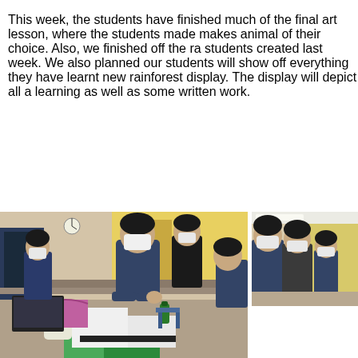This week, the students have finished much of the final art lesson, where the students made masks of an animal of their choice. Also, we finished off the rainforest display students created last week. We also planned our new rainforest display where students will show off everything they have learnt about rainforests on their new rainforest display. The display will depict all aspects of their learning as well as some written work.
[Figure (photo): Students in a classroom wearing masks, working at desks on art projects. Craft supplies including green paper and glue visible on the desks.]
[Figure (photo): Students in a classroom, partially visible, wearing face masks. Yellow wall and corridor visible in background.]